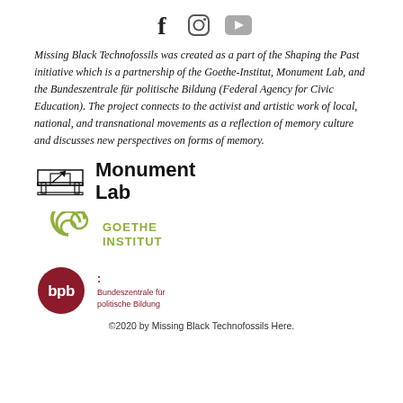[Figure (logo): Social media icons: Facebook (f), Instagram (camera), YouTube (play button)]
Missing Black Technofossils was created as a part of the Shaping the Past initiative which is a partnership of the Goethe-Institut, Monument Lab, and the Bundeszentrale für politische Bildung (Federal Agency for Civic Education). The project connects to the activist and artistic work of local, national, and transnational movements as a reflection of memory culture and discusses new perspectives on forms of memory.
[Figure (logo): Monument Lab logo with architectural/building icon and bold text 'Monument Lab']
[Figure (logo): Goethe Institut logo with olive-green concentric C-shapes and circle, text 'GOETHE INSTITUT']
[Figure (logo): bpb (Bundeszentrale für politische Bildung) logo with dark red circle and text]
©2020 by Missing Black Technofossils Here.